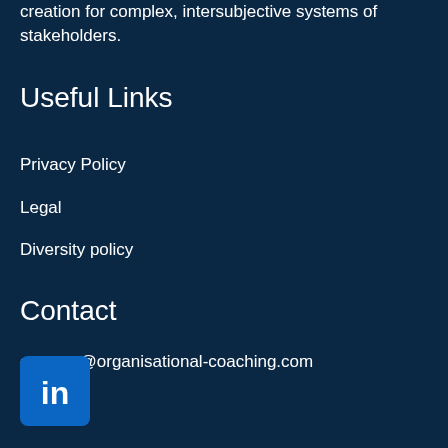creation for complex, intersubjective systems of stakeholders.
Useful Links
Privacy Policy
Legal
Diversity policy
Contact
connect@organisational-coaching.com
[Figure (logo): LinkedIn logo icon — blue rounded square with white 'in' text]